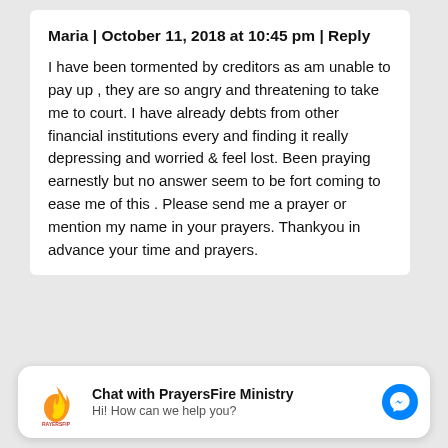Maria | October 11, 2018 at 10:45 pm | Reply
I have been tormented by creditors as am unable to pay up , they are so angry and threatening to take me to court. I have already debts from other financial institutions every and finding it really depressing and worried & feel lost. Been praying earnestly but no answer seem to be fort coming to ease me of this . Please send me a prayer or mention my name in your prayers. Thankyou in advance your time and prayers.
Chat with PrayersFire Ministry
Hi! How can we help you?